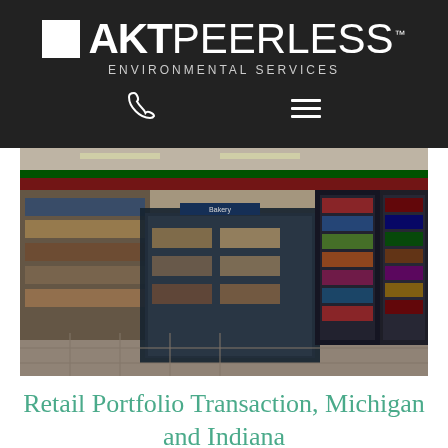[Figure (logo): AKT Peerless Environmental Services logo on dark background with white square icon, bold AKT text and regular PEERLESS text, with ENVIRONMENTAL SERVICES subtitle]
[Figure (photo): Interior of a convenience store or grocery store showing refrigerated display cases with beverages and food items, colorful shelving, fluorescent lighting, and a red stripe near the ceiling]
Retail Portfolio Transaction, Michigan and Indiana